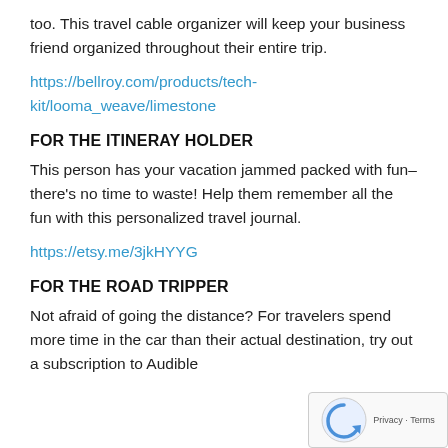too. This travel cable organizer will keep your business friend organized throughout their entire trip.
https://bellroy.com/products/tech-kit/looma_weave/limestone
FOR THE ITINERAY HOLDER
This person has your vacation jammed packed with fun– there's no time to waste! Help them remember all the fun with this personalized travel journal.
https://etsy.me/3jkHYYG
FOR THE ROAD TRIPPER
Not afraid of going the distance? For travelers spend more time in the car than their actual destination, try out a subscription to Audible